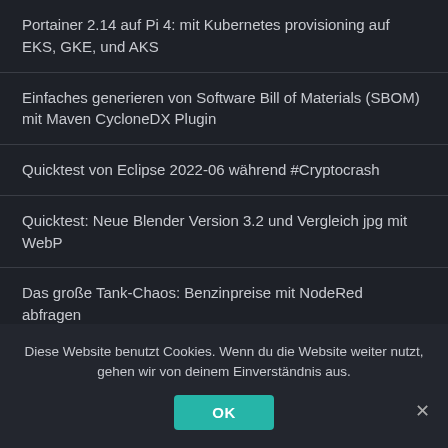Portainer 2.14 auf Pi 4: mit Kubernetes provisioning auf EKS, GKE, und AKS
Einfaches generieren von Software Bill of Materials (SBOM) mit Maven CycloneDX Plugin
Quicktest von Eclipse 2022-06 während #Cryptocrash
Quicktest: Neue Blender Version 3.2 und Vergleich jpg mit WebP
Das große Tank-Chaos: Benzinpreise mit NodeRed abfragen
Quicktest II mit 5.0.0 M1 alles GRÜN
Diese Website benutzt Cookies. Wenn du die Website weiter nutzt, gehen wir von deinem Einverständnis aus.